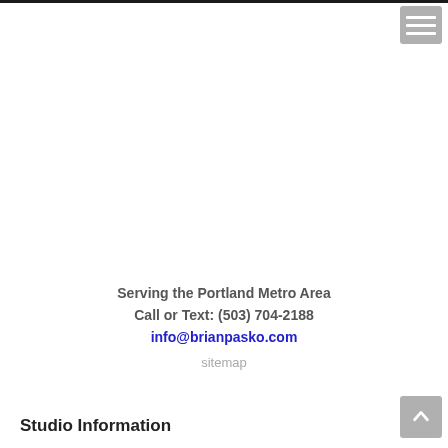Serving the Portland Metro Area
Call or Text: (503) 704-2188
info@brianpasko.com
sitemap
Studio Information